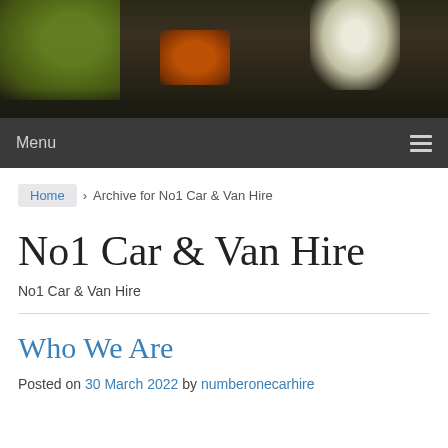[Figure (photo): Dark hero banner image with green leaves on the left, an orange/brown blurred object in the center-left, and a bright white light orb on the right, against a dark background.]
Menu
Home › Archive for No1 Car & Van Hire
No1 Car & Van Hire
No1 Car & Van Hire
Who We Are
Posted on 30 March 2022 by numberonecarhire